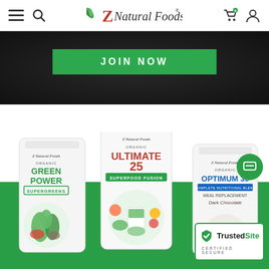Z Natural Foods - navigation header with menu, search, logo, cart, and account icons
[Figure (screenshot): Dark banner section with green JOIN NOW button]
[Figure (photo): Three Z Natural Foods product bags: Organic Green Power Supergreens, Organic Ultimate 25 Superfood Fusion, and Organic Optimum 30 Meal Replacement Dark Chocolate, displayed on green background]
[Figure (logo): TrustedSite Certified Secure badge with green checkmark]